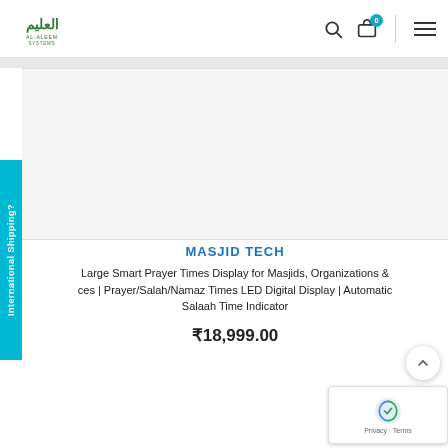[Figure (logo): Al-Aleem Systems logo with Arabic text and English text beneath]
MASJID TECH
Large Smart Prayer Times Display for Masjids, Organizations & ces | Prayer/Salah/Namaz Times LED Digital Display | Automatic Salaah Time Indicator
₹18,999.00
International Shipping?